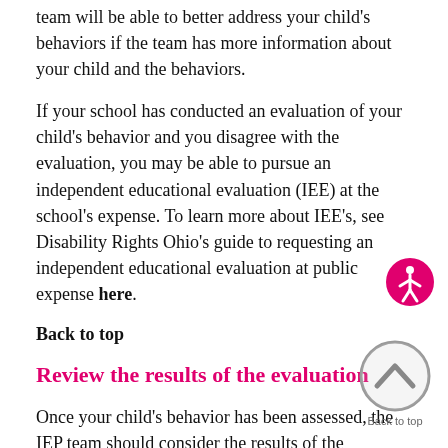team will be able to better address your child's behaviors if the team has more information about your child and the behaviors.
If your school has conducted an evaluation of your child's behavior and you disagree with the evaluation, you may be able to pursue an independent educational evaluation (IEE) at the school's expense. To learn more about IEE's, see Disability Rights Ohio's guide to requesting an independent educational evaluation at public expense here.
Back to top
Review the results of the evaluation
Once your child's behavior has been assessed, the IEP team should consider the results of the assessment. The individual(s) who collected data about your child's behavior should attend the meeting. You should request that the individual(s) who conducted assessment or evaluation of